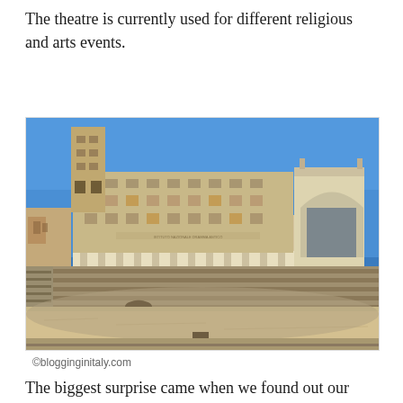The theatre is currently used for different religious and arts events.
[Figure (photo): Exterior view of a large classical Italian building (Istituto Nazionale per il Dramma Antico) with a tall bell tower on the left, arched windows, and a decorative baroque arch structure on the right. In the foreground are the ancient stone tiers and arena floor of the Roman amphitheatre of Lecce, Italy. Clear blue sky above.]
©blogginginitaly.com
The biggest surprise came when we found out our hotel,